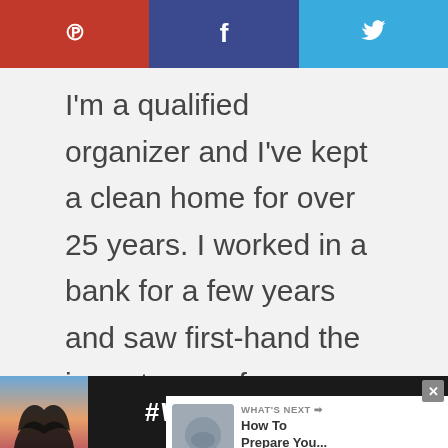[Figure (screenshot): Social sharing bar with Pinterest (red), Facebook (dark blue), Twitter (light blue) buttons with icons]
I'm a qualified organizer and I've kept a clean home for over 25 years. I worked in a bank for a few years and saw first-hand the importance of budgeting. Join me as I write about organizing and cleaning your home and life.
[Figure (screenshot): Heart/like button (teal circle) with count 14, and share button below]
[Figure (screenshot): What's Next widget with thumbnail and text 'How To Prepare You...']
[Figure (screenshot): Bottom advertisement bar with heart hands image, #ViralKindness hashtag, and brand logo, with close button]